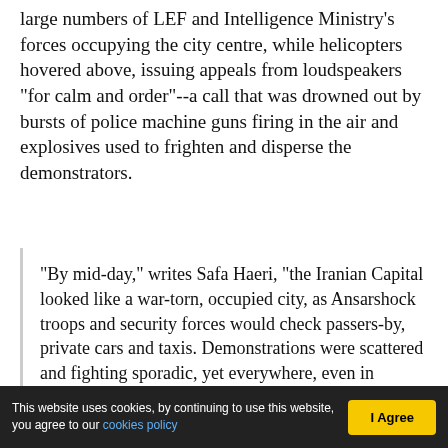large numbers of LEF and Intelligence Ministry's forces occupying the city centre, while helicopters hovered above, issuing appeals from loudspeakers "for calm and order"--a call that was drowned out by bursts of police machine guns firing in the air and explosives used to frighten and disperse the demonstrators.
"By mid-day," writes Safa Haeri, "the Iranian Capital looked like a war-torn, occupied city, as Ansarshock troops and security forces would check passers-by, private cars and taxis. Demonstrations were scattered and fighting sporadic, yet everywhere, even in downtown Tehran, where protesters attacked a bank, set fire to two buses and several official buildings, tried to occupy the offices of the hated dailies 'Keyhan' and 'Jomhouri
This website uses cookies, by continuing to use this website, you agree to our cookies policy   I Agree